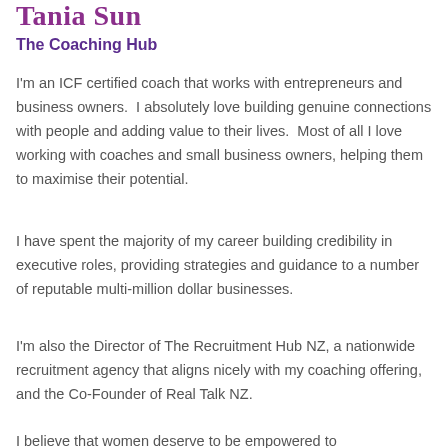Tania Sun
The Coaching Hub
I'm an ICF certified coach that works with entrepreneurs and business owners.  I absolutely love building genuine connections with people and adding value to their lives.  Most of all I love working with coaches and small business owners, helping them to maximise their potential.
I have spent the majority of my career building credibility in executive roles, providing strategies and guidance to a number of reputable multi-million dollar businesses.
I'm also the Director of The Recruitment Hub NZ, a nationwide recruitment agency that aligns nicely with my coaching offering, and the Co-Founder of Real Talk NZ.
I believe that women deserve to be empowered to